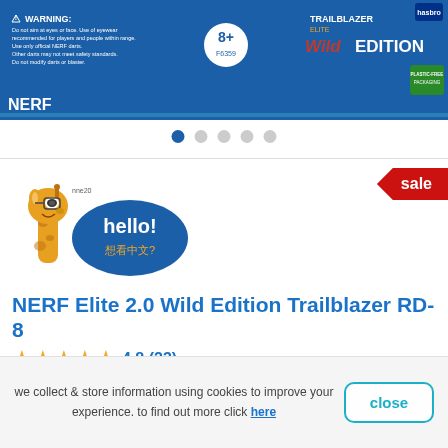[Figure (photo): NERF Elite 2.0 Wild Edition Trailblazer RD-8 product box shown in blue packaging with warning label, age badge (8+), Trailblazer Wild Edition logo, and plastic-free packaging badge]
[Figure (other): Image carousel dot indicators: 5 dots, first one active (blue), rest gray]
[Figure (other): Red sale banner in top right corner]
[Figure (illustration): Smiling giraffe mascot with glasses and blue oval speech bubble saying hello! and 想看中文? with small logo text nne20]
NERF Elite 2.0 Wild Edition Trailblazer RD-8
4.8 (23)
ages: 3+ years
we collect & store information using cookies to improve your experience. to find out more click here
close